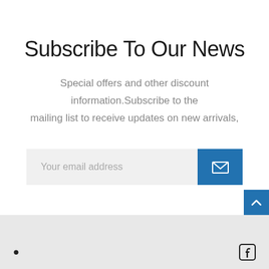Subscribe To Our News
Special offers and other discount information.Subscribe to the mailing list to receive updates on new arrivals,
[Figure (screenshot): Email subscription input field with placeholder text 'Your email address' and a blue submit button with a white envelope icon]
[Figure (other): Blue scroll-to-top button with white upward chevron arrow, positioned at bottom-right]
• [Facebook icon]